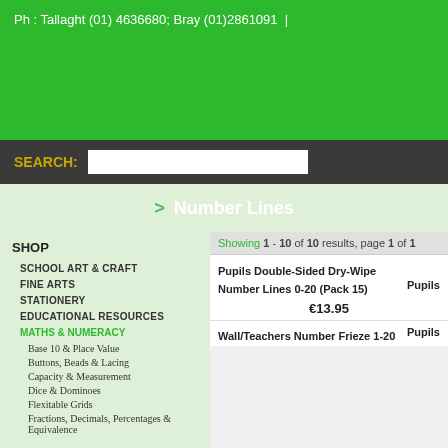Ph: Tallaght (01) 4636680; Bray (01) 2861091  |
SEARCH:
> Number Lines
SHOP
SCHOOL ART & CRAFT
FINE ARTS
STATIONERY
EDUCATIONAL RESOURCES
MATHS & NUMERACY
Base 10 & Place Value
Buttons, Beads & Lacing
Capacity & Measurement
Dice & Dominoes
Flexitable Grids
Fractions, Decimals, Percentages & Equivalence
Showing 1 - 10 of 10 results, page 1 of 1
Pupils Double-Sided Dry-Wipe Number Lines 0-20 (Pack 15)
Pupils
€13.95
Wall/Teachers Number Frieze 1-20
Pupils